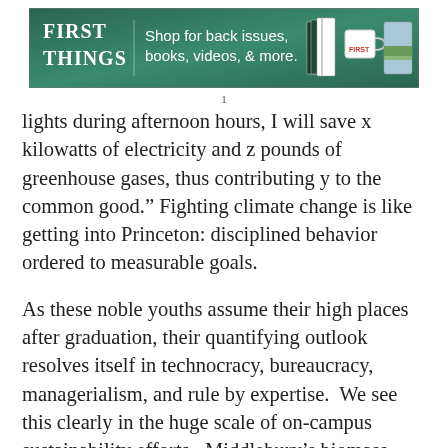[Figure (other): First Things magazine banner advertisement: green background with white 'FIRST THINGS' logo text, 'Shop for back issues, books, videos, & more.' text, and images of books and a mug]
lights during afternoon hours, I will save x kilowatts of electricity and z pounds of greenhouse gases, thus contributing y to the common good.” Fighting climate change is like getting into Princeton: disciplined behavior ordered to measurable goals.
As these noble youths assume their high places after graduation, their quantifying outlook resolves itself in technocracy, bureaucracy, managerialism, and rule by expertise. We see this clearly in the huge scale of on-campus sustainability efforts. Middlebury’s biomass gasification plant is the product of an administration comfortable with multi-million-dollar projects, made possible by a sizeable and wealthy circle of alumni, a